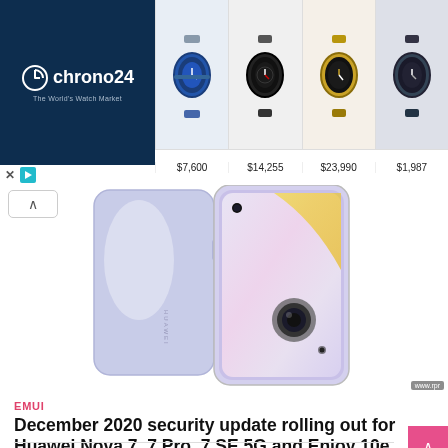[Figure (screenshot): Chrono24 advertisement banner with logo on dark blue background and four luxury watch images with prices $7,600, $14,255, $23,990, $1,987]
[Figure (photo): Huawei Nova 7 smartphone showing back and front view in silver/lavender color]
EMUI
December 2020 security update rolling out for Huawei Nova 7, 7 Pro, 7 SE 5G and Enjoy 10e
by Sivi  |  January 28, 2021